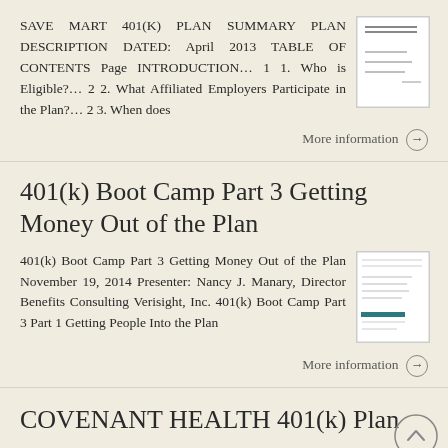SAVE MART 401(K) PLAN SUMMARY PLAN DESCRIPTION DATED: April 2013 TABLE OF CONTENTS Page INTRODUCTION… 1 1. Who is Eligible?… 2 2. What Affiliated Employers Participate in the Plan?… 2 3. When does
[Figure (screenshot): Thumbnail preview of Save Mart 401(K) Plan document]
More information →
401(k) Boot Camp Part 3 Getting Money Out of the Plan
401(k) Boot Camp Part 3 Getting Money Out of the Plan November 19, 2014 Presenter: Nancy J. Manary, Director Benefits Consulting Verisight, Inc. 401(k) Boot Camp Part 3 Part 1 Getting People Into the Plan
[Figure (screenshot): Thumbnail preview of 401(k) Boot Camp Part 3 document]
More information →
COVENANT HEALTH 401(k) Plan